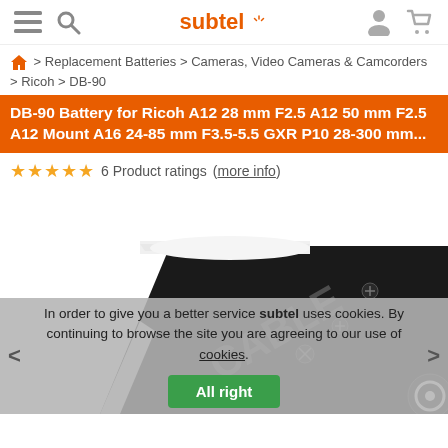subtel — navigation header with menu, search, account, cart icons
> Replacement Batteries > Cameras, Video Cameras & Camcorders > Ricoh > DB-90
DB-90 Battery for Ricoh A12 28 mm F2.5 A12 50 mm F2.5 A12 Mount A16 24-85 mm F3.5-5.5 GXR P10 28-300 mm...
★★★★★ 6 Product ratings (more info)
[Figure (photo): Close-up photo of a black camera battery (DB-90 replacement) shown at an angle, with white contact strips visible on top]
In order to give you a better service subtel uses cookies. By continuing to browse the site you are agreeing to our use of cookies.